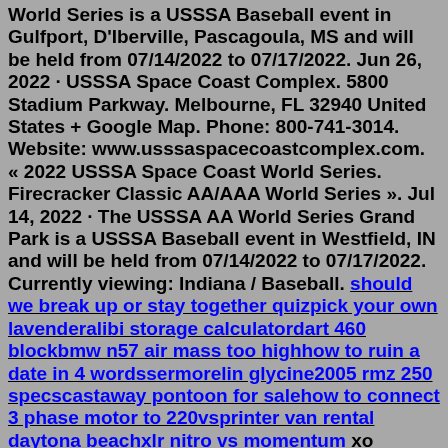World Series is a USSSA Baseball event in Gulfport, D'Iberville, Pascagoula, MS and will be held from 07/14/2022 to 07/17/2022. Jun 26, 2022 · USSSA Space Coast Complex. 5800 Stadium Parkway. Melbourne, FL 32940 United States + Google Map. Phone: 800-741-3014. Website: www.usssaspacecoastcomplex.com. « 2022 USSSA Space Coast World Series. Firecracker Classic AA/AAA World Series ». Jul 14, 2022 · The USSSA AA World Series Grand Park is a USSSA Baseball event in Westfield, IN and will be held from 07/14/2022 to 07/17/2022. Currently viewing: Indiana / Baseball. should we break up or stay together quizpick your own lavenderalibi storage calculatordart 460 blockbmw n57 air mass too highhow to ruin a date in 4 wordssermorelin glycine2005 rmz 250 specscastaway pontoon for salehow to connect 3 phase motor to 220vsprinter van rental daytona beachxlr nitro vs momentum xo